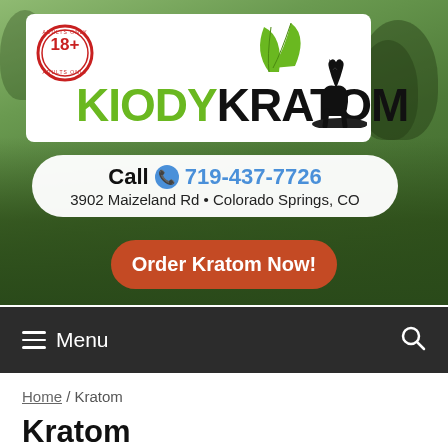[Figure (logo): Kiody Kratom website header with logo showing green KIODY and black KRATOM text with wolf silhouette and leaf graphics, 18+ adults only badge, phone number 719-437-7726, address 3902 Maizeland Rd Colorado Springs CO, and Order Kratom Now button]
≡ Menu
Home / Kratom
Kratom